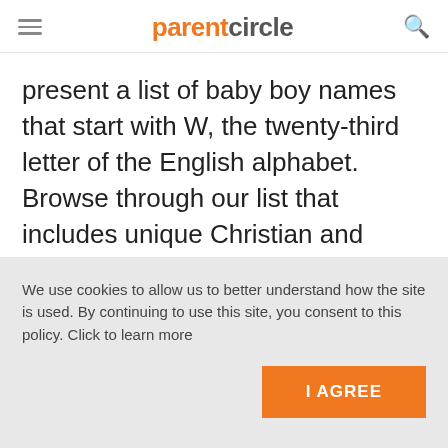parentcircle
present a list of baby boy names that start with W, the twenty-third letter of the English alphabet. Browse through our list that includes unique Christian and Muslim names, and choose the perfect name for your bundle of joy.
We use cookies to allow us to better understand how the site is used. By continuing to use this site, you consent to this policy. Click to learn more
I AGREE